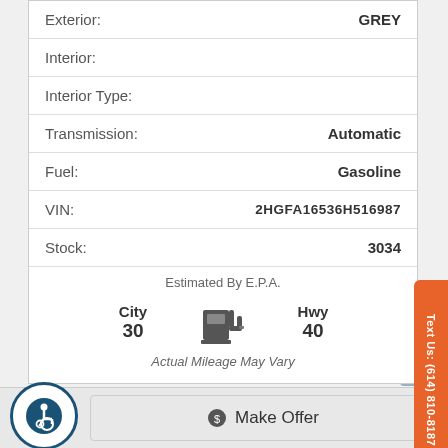| Field | Value |
| --- | --- |
| Exterior: | GREY |
| Interior: |  |
| Interior Type: |  |
| Transmission: | Automatic |
| Fuel: | Gasoline |
| VIN: | 2HGFA16536H516987 |
| Stock: | 3034 |
[Figure (infographic): EPA fuel economy estimate showing City 30 MPG and Highway 40 MPG with a fuel pump icon]
Text Us: (614) 810-8187
Make Offer